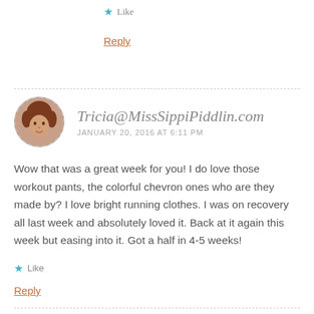★ Like
Reply
Tricia@MissSippiPiddlin.com
JANUARY 20, 2016 AT 6:11 PM
Wow that was a great week for you! I do love those workout pants, the colorful chevron ones who are they made by? I love bright running clothes. I was on recovery all last week and absolutely loved it. Back at it again this week but easing into it. Got a half in 4-5 weeks!
★ Like
Reply